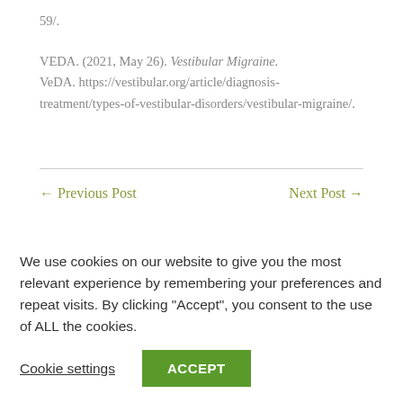59/.
VEDA. (2021, May 26). Vestibular Migraine. VeDA. https://vestibular.org/article/diagnosis-treatment/types-of-vestibular-disorders/vestibular-migraine/.
← Previous Post
Next Post →
We use cookies on our website to give you the most relevant experience by remembering your preferences and repeat visits. By clicking "Accept", you consent to the use of ALL the cookies.
Cookie settings
ACCEPT